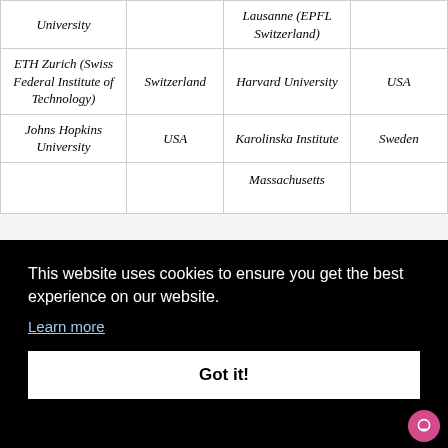| Institution | Country | Institution | Country |
| --- | --- | --- | --- |
| University |  | Lausanne (EPFL Switzerland) |  |
| ETH Zurich (Swiss Federal Institute of Technology) | Switzerland | Harvard University | USA |
| Johns Hopkins University | USA | Karolinska Institute | Sweden |
|  |  | Massachusetts ... |  |
This website uses cookies to ensure you get the best experience on our website.
Learn more
Got it!